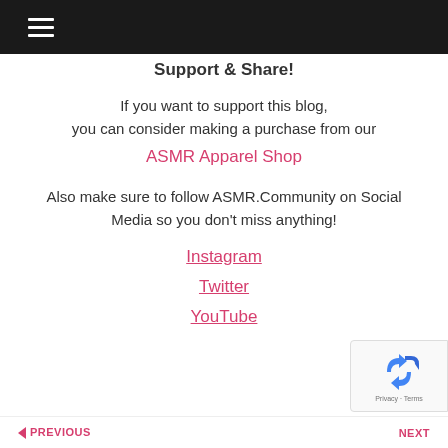☰ (hamburger menu)
Support & Share!
If you want to support this blog,
you can consider making a purchase from our
ASMR Apparel Shop
Also make sure to follow ASMR.Community on Social Media so you don't miss anything!
Instagram
Twitter
YouTube
PREVIOUS   NEXT